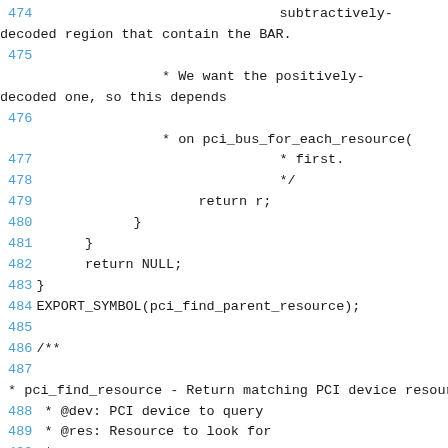Source code listing showing lines 474-492 of a C kernel PCI resource file, including comments about subtractively-decoded regions, pci_bus_for_each_resource, return statements, closing braces, EXPORT_SYMBOL(pci_find_parent_resource), and start of pci_find_resource documentation comment.